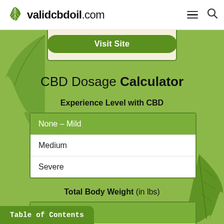validcbdoil.com
[Figure (screenshot): Visit Site button inside a card with beige background and green border]
CBD Dosage Calculator
Experience Level with CBD
None - Mild (selected)
Medium
Severe
Total Body Weight (in lbs)
< 45 (selected)
Table of Contents